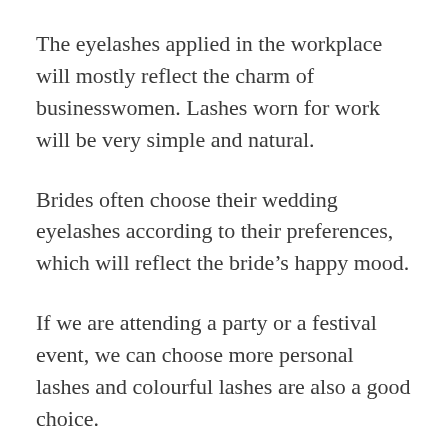The eyelashes applied in the workplace will mostly reflect the charm of businesswomen. Lashes worn for work will be very simple and natural.
Brides often choose their wedding eyelashes according to their preferences, which will reflect the bride's happy mood.
If we are attending a party or a festival event, we can choose more personal lashes and colourful lashes are also a good choice.
Stage lashes. In order to achieve a variety of stage effects, makeup artists will make